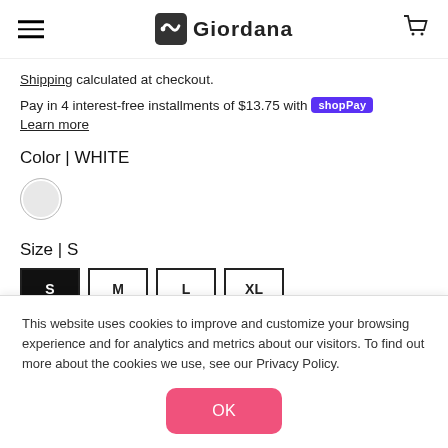Giordana
Shipping calculated at checkout.
Pay in 4 interest-free installments of $13.75 with Shop Pay  Learn more
Color | WHITE
[Figure (other): White color swatch circle]
Size | S
Size buttons: S (selected), M, L, XL
This website uses cookies to improve and customize your browsing experience and for analytics and metrics about our visitors. To find out more about the cookies we use, see our Privacy Policy.